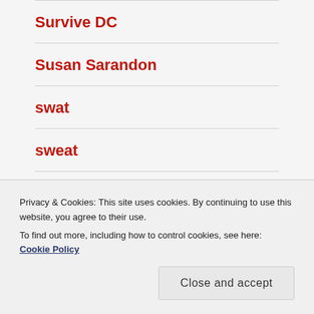Survive DC
Susan Sarandon
swat
sweat
swine flu
T-Rexx
Privacy & Cookies: This site uses cookies. By continuing to use this website, you agree to their use.
To find out more, including how to control cookies, see here: Cookie Policy
Close and accept